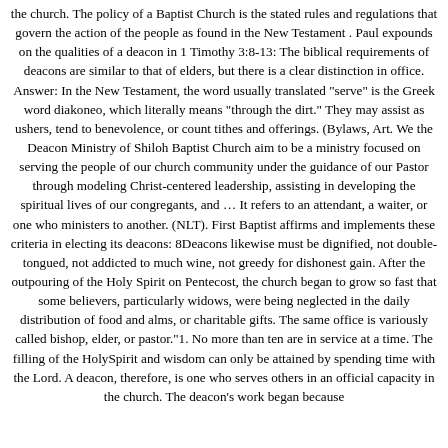the church. The policy of a Baptist Church is the stated rules and regulations that govern the action of the people as found in the New Testament . Paul expounds on the qualities of a deacon in 1 Timothy 3:8-13: The biblical requirements of deacons are similar to that of elders, but there is a clear distinction in office. Answer: In the New Testament, the word usually translated "serve" is the Greek word diakoneo, which literally means "through the dirt." They may assist as ushers, tend to benevolence, or count tithes and offerings. (Bylaws, Art. We the Deacon Ministry of Shiloh Baptist Church aim to be a ministry focused on serving the people of our church community under the guidance of our Pastor through modeling Christ-centered leadership, assisting in developing the spiritual lives of our congregants, and … It refers to an attendant, a waiter, or one who ministers to another. (NLT). First Baptist affirms and implements these criteria in electing its deacons: 8Deacons likewise must be dignified, not double-tongued, not addicted to much wine, not greedy for dishonest gain. After the outpouring of the Holy Spirit on Pentecost, the church began to grow so fast that some believers, particularly widows, were being neglected in the daily distribution of food and alms, or charitable gifts. The same office is variously called bishop, elder, or pastor."1. No more than ten are in service at a time. The filling of the HolySpirit and wisdom can only be attained by spending time with the Lord. A deacon, therefore, is one who serves others in an official capacity in the church. The deacon's work began because